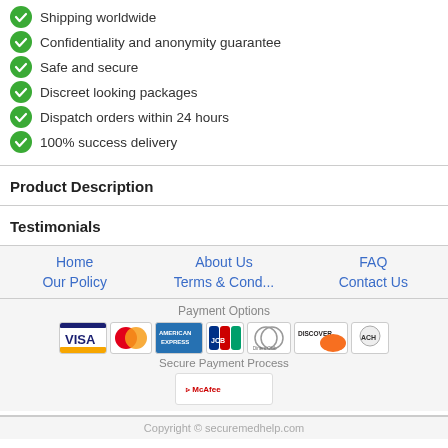Shipping worldwide
Confidentiality and anonymity guarantee
Safe and secure
Discreet looking packages
Dispatch orders within 24 hours
100% success delivery
Product Description
Testimonials
Home    About Us    FAQ    Our Policy    Terms & Cond...    Contact Us
Payment Options
[Figure (infographic): Payment method icons: VISA, MasterCard, American Express, JCB, Diners Club, Discover, ACH]
Secure Payment Process
[Figure (logo): McAfee security badge]
Copyright © securemedhelp.com